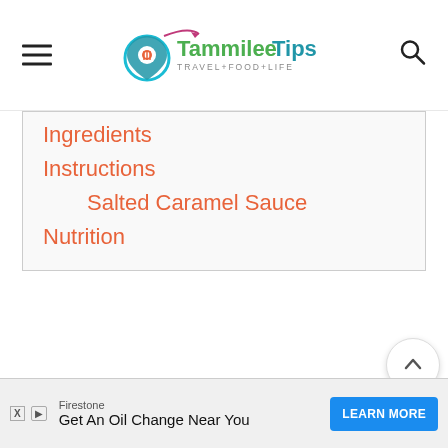Tammilee Tips — TRAVEL+FOOD+LIFE
Ingredients
Instructions
Salted Caramel Sauce
Nutrition
[Figure (screenshot): Floating action buttons on right side: up-arrow button, count 41, heart/favorite button, and orange search button]
[Figure (screenshot): Advertisement banner at bottom: Firestone - Get An Oil Change Near You - LEARN MORE button]